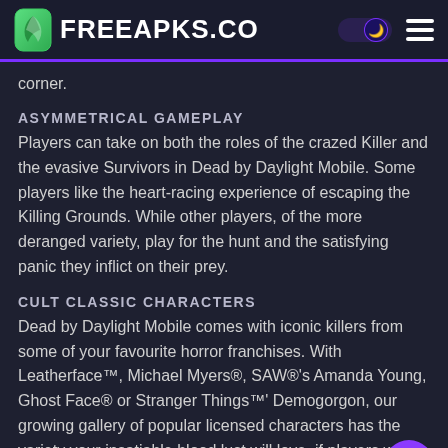FreeAPKs.CO
corner.
ASYMMETRICAL GAMEPLAY
Players can take on both the roles of the crazed Killer and the evasive Survivors in Dead by Daylight Mobile. Some players like the heart-racing experience of escaping the Killing Grounds. While other players, of the more deranged variety, play for the hunt and the satisfying panic they inflict on their prey.
CULT CLASSIC CHARACTERS
Dead by Daylight Mobile comes with iconic killers from some of your favourite horror franchises. With Leatherface™, Michael Myers®, SAW®'s Amanda Young, Ghost Face® or Stranger Things™' Demogorgon, our growing gallery of popular licensed characters has the variety your insatiable blood lust will love. if players wish to play as one of our Survivors, they still get c...